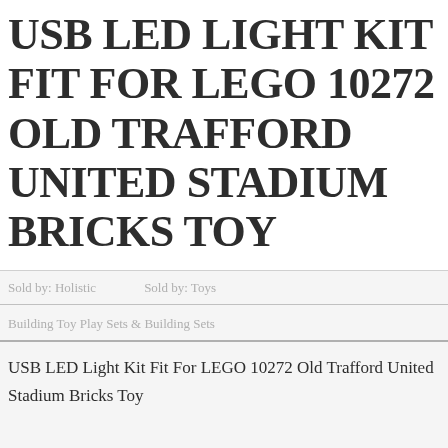USB LED LIGHT KIT FIT FOR LEGO 10272 OLD TRAFFORD UNITED STADIUM BRICKS TOY
Sold by: Holistic    Sold by: Toys
Building Toy Play Sets & Building Sets
USB LED Light Kit Fit For LEGO 10272 Old Trafford United
Stadium Bricks Toy